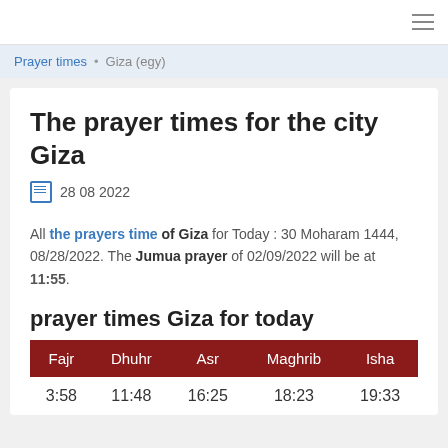≡
Prayer times • Giza (egy)
The prayer times for the city Giza
📅 28 08 2022
All the prayers time of Giza for Today : 30 Moharam 1444, 08/28/2022. The Jumua prayer of 02/09/2022 will be at 11:55.
prayer times Giza for today
| Fajr | Dhuhr | Asr | Maghrib | Isha |
| --- | --- | --- | --- | --- |
| 3:58 | 11:48 | 16:25 | 18:23 | 19:33 |